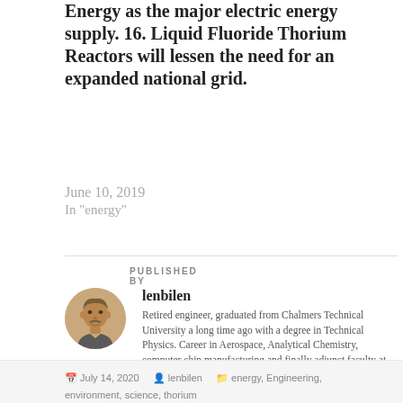Energy as the major electric energy supply. 16. Liquid Fluoride Thorium Reactors will lessen the need for an expanded national grid.
June 10, 2019
In "energy"
PUBLISHED BY
lenbilen
Retired engineer, graduated from Chalmers Technical University a long time ago with a degree in Technical Physics. Career in Aerospace, Analytical Chemistry, computer chip manufacturing and finally adjunct faculty at Pennsylvania State University, taught just one course in Computer Engineering, the Capstone Course. View all posts by lenbilen →
July 14, 2020  lenbilen  energy, Engineering, environment, science, thorium  environment, The electric grid, Thorium